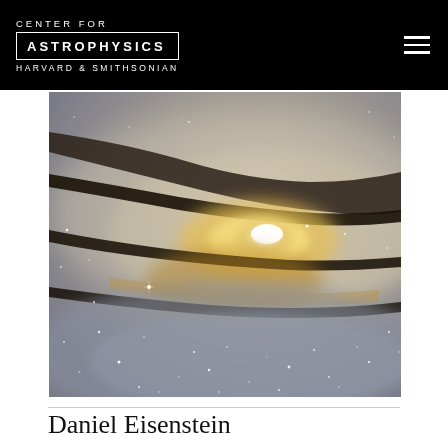CENTER FOR ASTROPHYSICS HARVARD & SMITHSONIAN
[Figure (photo): Close-up astronomical image of a galaxy core showing dust lanes, bright star-forming regions with golden light at center, and scattered point stars against a grey nebular background.]
Daniel Eisenstein